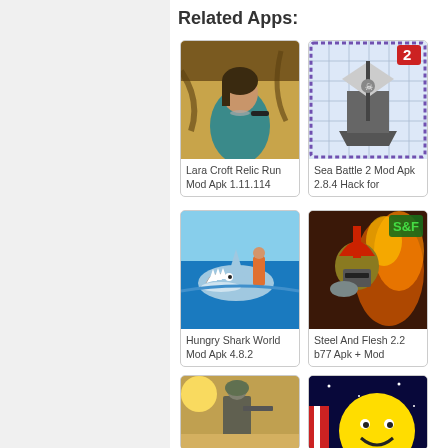Related Apps:
[Figure (photo): Lara Croft Relic Run game app icon showing a female adventurer holding a gun]
Lara Croft Relic Run Mod Apk 1.11.114
[Figure (photo): Sea Battle 2 app icon showing a pirate ship in a grid-based game]
Sea Battle 2 Mod Apk 2.8.4 Hack for
[Figure (photo): Hungry Shark World game app icon showing a shark attacking a swimmer]
Hungry Shark World Mod Apk 4.8.2
[Figure (photo): Steel And Flesh 2 game app icon showing a Roman soldier in a fiery battle scene with S&F logo]
Steel And Flesh 2.2 b77 Apk + Mod
[Figure (photo): Partially visible game app icon showing a soldier in a desert setting]
[Figure (photo): Partially visible game app icon showing a yellow cartoon character in space]